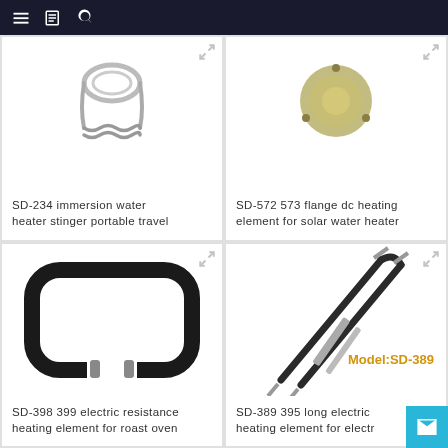Navigation bar with menu, catalog, and search icons
[Figure (photo): SD-234 immersion water heater stinger portable travel heater product photo (partially cropped at top)]
SD-234 immersion water heater stinger portable travel
[Figure (photo): SD-572 573 flange dc heating element for solar water heater product photo (partially cropped at top)]
SD-572 573 flange dc heating element for solar water heater
[Figure (photo): SD-398 399 electric resistance heating element for roast oven — black rectangular U-shaped heating element]
SD-398 399 electric resistance heating element for roast oven
[Figure (photo): SD-389 395 long electric heating element for electric oven — diagonal twin-rod heating element with Model:SD-389 label in gold text]
SD-389 395 long electric heating element for electr